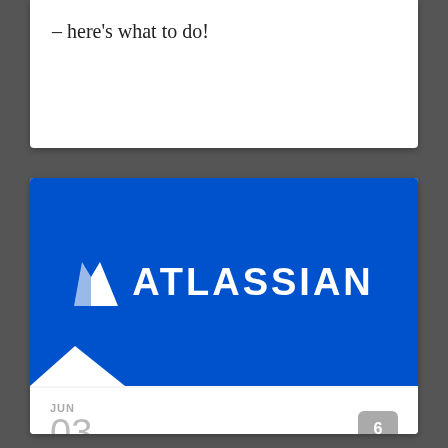– here's what to do!
[Figure (logo): Atlassian logo on blue background with white triangle logo mark and white ATLASSIAN wordmark]
JUN
03 BY PAUL DUCKLIN
Atlassian announces 0-day hole in Confluence Server – update now!